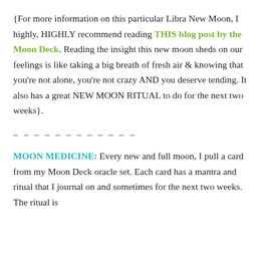{For more information on this particular Libra New Moon, I highly, HIGHLY recommend reading THIS blog post by the Moon Deck. Reading the insight this new moon sheds on our feelings is like taking a big breath of fresh air & knowing that you're not alone, you're not crazy AND you deserve tending. It also has a great NEW MOON RITUAL to do for the next two weeks}.
– – – – – – – – – – – –
MOON MEDICINE: Every new and full moon, I pull a card from my Moon Deck oracle set. Each card has a mantra and ritual that I journal on and sometimes for the next two weeks. The ritual is...